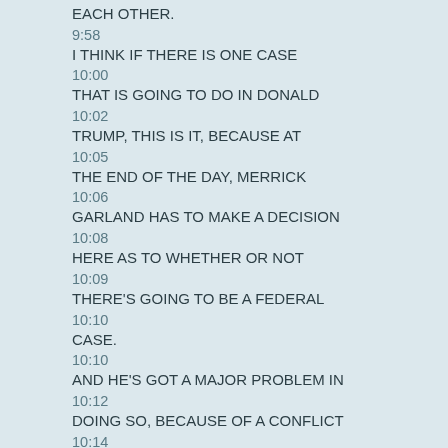EACH OTHER.
9:58
I THINK IF THERE IS ONE CASE
10:00
THAT IS GOING TO DO IN DONALD
10:02
TRUMP, THIS IS IT, BECAUSE AT
10:05
THE END OF THE DAY, MERRICK
10:06
GARLAND HAS TO MAKE A DECISION
10:08
HERE AS TO WHETHER OR NOT
10:09
THERE'S GOING TO BE A FEDERAL
10:10
CASE.
10:10
AND HE'S GOT A MAJOR PROBLEM IN
10:12
DOING SO, BECAUSE OF A CONFLICT
10:14
IN THE SENSE THAT HE WOULD BE
10:17
PROSECUTING NOT JUST A FORMER